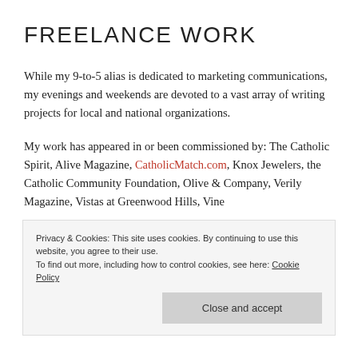FREELANCE WORK
While my 9-to-5 alias is dedicated to marketing communications, my evenings and weekends are devoted to a vast array of writing projects for local and national organizations.
My work has appeared in or been commissioned by: The Catholic Spirit, Alive Magazine, CatholicMatch.com, Knox Jewelers, the Catholic Community Foundation, Olive & Company, Verily Magazine, Vistas at Greenwood Hills, Vine
Privacy & Cookies: This site uses cookies. By continuing to use this website, you agree to their use.
To find out more, including how to control cookies, see here: Cookie Policy
Close and accept